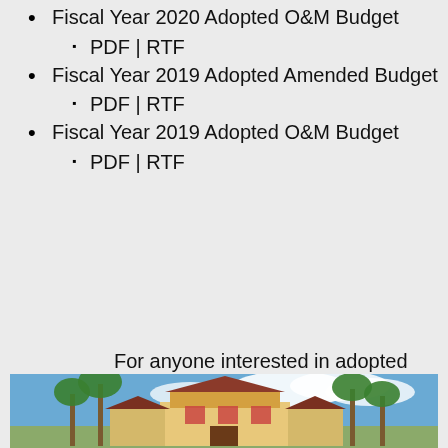Fiscal Year 2020 Adopted O&M Budget
PDF | RTF
Fiscal Year 2019 Adopted Amended Budget
PDF | RTF
Fiscal Year 2019 Adopted O&M Budget
PDF | RTF
For anyone interested in adopted budgets prior to fiscal year 2019, please contact the District Office.
[Figure (photo): Photograph of Victorian-style houses with palm trees in front under a partly cloudy blue sky.]